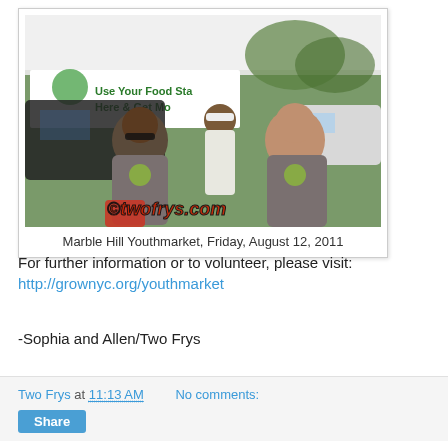[Figure (photo): Three young women wearing gray 'Grow NYC' t-shirts at an outdoor farmers market booth under a white tent. A banner behind them reads 'Use Your Food Sta... Here & Get Mo...' A watermark reads '© twofrys.com']
Marble Hill Youthmarket, Friday, August 12, 2011
For further information or to volunteer, please visit:
http://grownyc.org/youthmarket
-Sophia and Allen/Two Frys
Two Frys at 11:13 AM   No comments:   Share